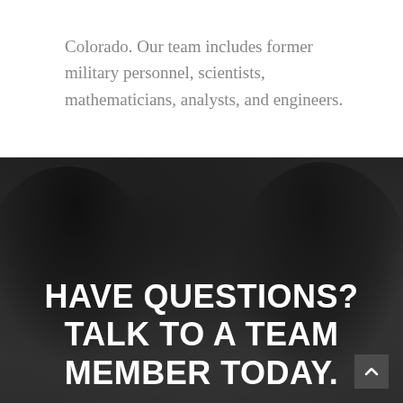Colorado. Our team includes former military personnel, scientists, mathematicians, analysts, and engineers.
[Figure (photo): Dark, blurred photo of people (team members) gathered around a table working together, with overlay text 'HAVE QUESTIONS? TALK TO A TEAM MEMBER TODAY.' and a scroll-up button in the bottom right corner.]